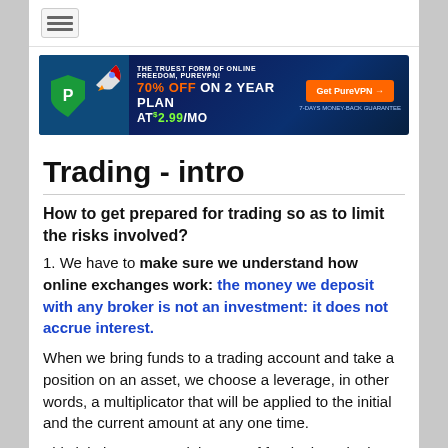[Figure (other): PureVPN advertisement banner: dark blue background with shield logo, rocket graphic, text '70% OFF ON 2 YEAR PLAN AT $2.99/MO', orange CTA button 'Get PureVPN →', and '7-DAYS MONEY-BACK GUARANTEE' text]
Trading - intro
How to get prepared for trading so as to limit the risks involved?
1. We have to make sure we understand how online exchanges work: the money we deposit with any broker is not an investment: it does not accrue interest.
When we bring funds to a trading account and take a position on an asset, we choose a leverage, in other words, a multiplicator that will be applied to the initial and the current amount at any one time.
This inital amount and the rest of funds deposited can be lost completely if the market works against us and we